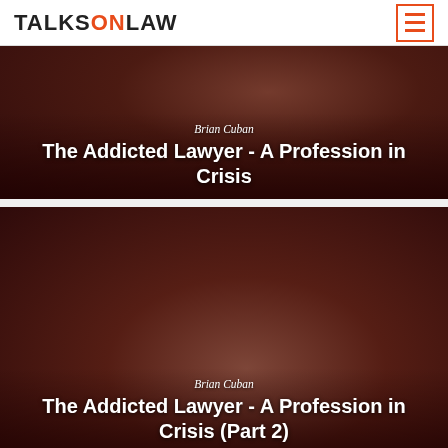TALKSONLAW
[Figure (photo): Dark reddish-brown background with a partially visible person in a suit; overlay text reads 'Brian Cuban' and 'The Addicted Lawyer - A Profession in Crisis']
[Figure (photo): Dark reddish-brown background with a man smiling, looking upward; overlay text reads 'Brian Cuban' and 'The Addicted Lawyer - A Profession in Crisis (Part 2)']